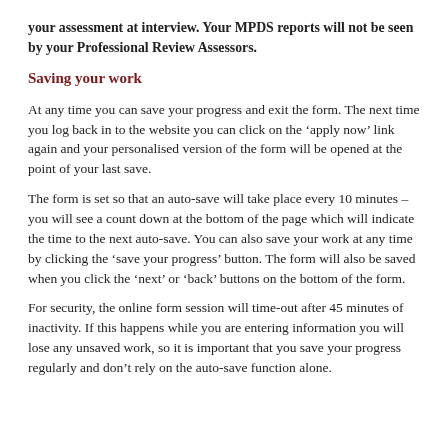your assessment at interview. Your MPDS reports will not be seen by your Professional Review Assessors.
Saving your work
At any time you can save your progress and exit the form. The next time you log back in to the website you can click on the ‘apply now’ link again and your personalised version of the form will be opened at the point of your last save.
The form is set so that an auto-save will take place every 10 minutes – you will see a count down at the bottom of the page which will indicate the time to the next auto-save. You can also save your work at any time by clicking the ‘save your progress’ button. The form will also be saved when you click the ‘next’ or ‘back’ buttons on the bottom of the form.
For security, the online form session will time-out after 45 minutes of inactivity. If this happens while you are entering information you will lose any unsaved work, so it is important that you save your progress regularly and don’t rely on the auto-save function alone.